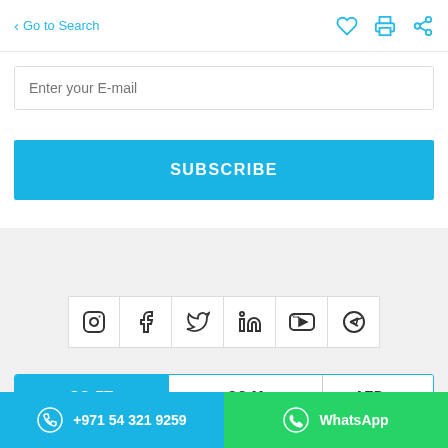Go to Search
Enter your E-mail
SUBSCRIBE
[Figure (screenshot): Social media icons: Instagram, Facebook, Twitter, LinkedIn, YouTube, Telegram]
SQ FT  SQ M  AED
+971 54 321 9259  WhatsApp